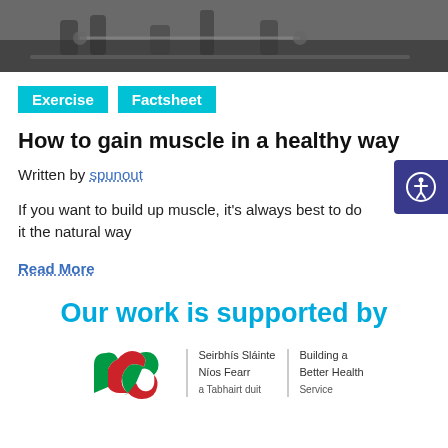[Figure (photo): Photo banner of people exercising with barbells, cropped top section]
Exercise  Factsheet
How to gain muscle in a healthy way
Written by spunout
If you want to build up muscle, it's always best to do it the natural way
Read More
Our work is supported by
[Figure (logo): HSE logo with Irish harp-like mark, Seirbhís Sláinte Níos Fearr, Building a Better Health Service]